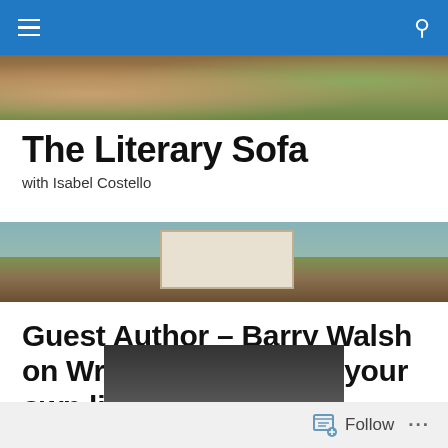Navigation bar with menu and search icons
[Figure (photo): Top banner photo showing outdoor scene with earth tones and greenery]
The Literary Sofa
with Isabel Costello
[Figure (photo): Mid-page banner photo showing a beach house scene with blue sky, green grass, and sandy ground]
Guest Author – Barry Walsh on Writing fiction from your own life
[Figure (photo): Partially visible photo of a person seen through a gate or fence, dark tones]
Follow   ...